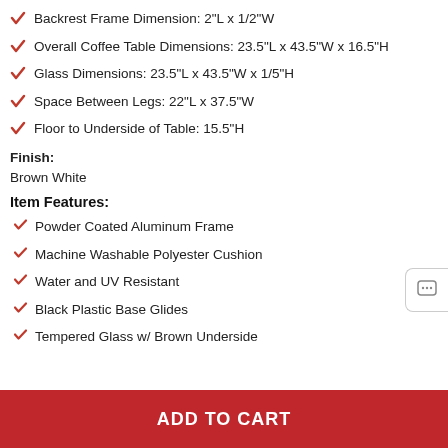Backrest Frame Dimension: 2"L x 1/2"W
Overall Coffee Table Dimensions: 23.5"L x 43.5"W x 16.5"H
Glass Dimensions: 23.5"L x 43.5"W x 1/5"H
Space Between Legs: 22"L x 37.5"W
Floor to Underside of Table: 15.5"H
Finish:
Brown White
Item Features:
Powder Coated Aluminum Frame
Machine Washable Polyester Cushion
Water and UV Resistant
Black Plastic Base Glides
Tempered Glass w/ Brown Underside
ADD TO CART